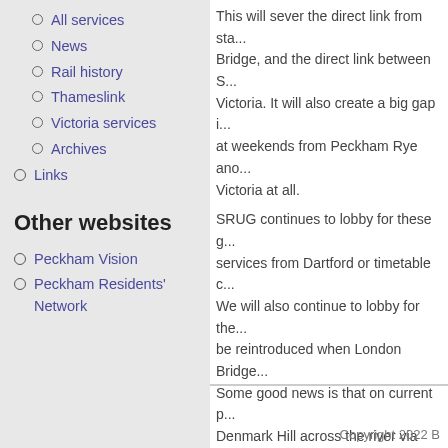All services
News
Rail history
Thameslink
Victoria services
Archives
Links
Other websites
Peckham Vision
Peckham Residents' Network
This will sever the direct link from sta... Bridge, and the direct link between S... Victoria. It will also create a big gap i... at weekends from Peckham Rye ano... Victoria at all.
SRUG continues to lobby for these g... services from Dartford or timetable c... We will also continue to lobby for the... be reintroduced when London Bridge... Some good news is that on current p... Denmark Hill across the river via Bla... Blackfriars is fully reopened next yea... to the frequencies and regularity of t...
Printer-friendly version
Copyright 2022 B...